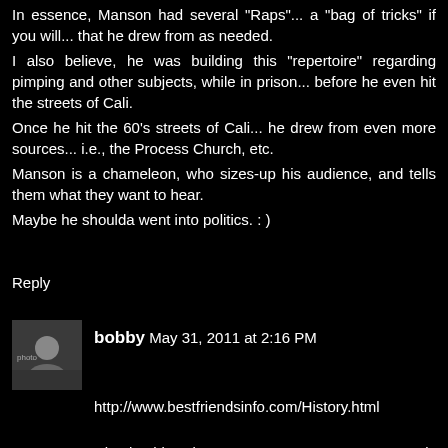In essence, Manson had several "Raps"... a "bag of tricks" if you will... that he drew from as needed.
I also believe, he was building this "repertoire" regarding pimping and other subjects, while in prison... before he even hit the streets of Cali.
Once he hit the 60's streets of Cali... he drew from even more sources... i.e., the Process Church, etc.
Manson is a chameleon, who sizes-up his audience, and tells them what they want to hear.
Maybe he shoulda went into politics. : )
Reply
bobby May 31, 2011 at 2:16 PM
http://www.bestfriendsinfo.com/History.html
Check this site out. Seems not everyone is convinced that best friends has fully evolved.
Reply